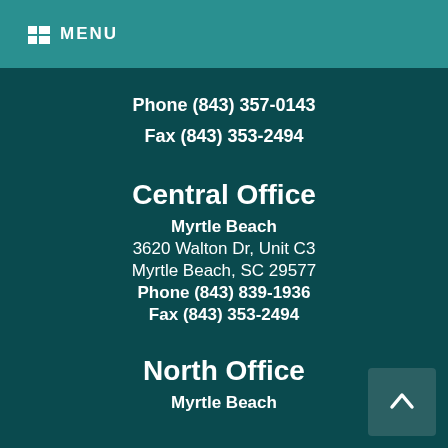MENU
Phone (843) 357-0143
Fax (843) 353-2494
Central Office
Myrtle Beach
3620 Walton Dr, Unit C3
Myrtle Beach, SC 29577
Phone (843) 839-1936
Fax (843) 353-2494
North Office
Myrtle Beach